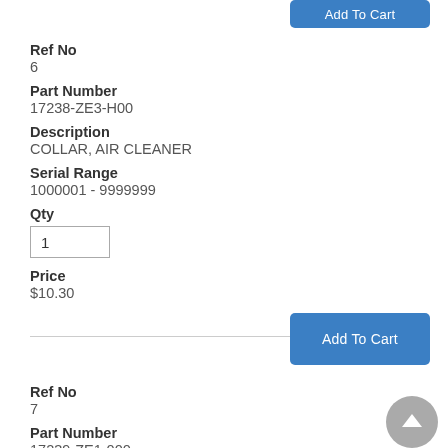Add To Cart
Ref No
6
Part Number
17238-ZE3-H00
Description
COLLAR, AIR CLEANER
Serial Range
1000001 - 9999999
Qty
1
Price
$10.30
Add To Cart
Ref No
7
Part Number
17239-ZE1-000
Description